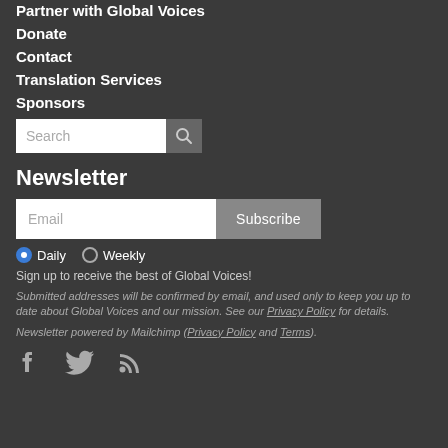Partner with Global Voices
Donate
Contact
Translation Services
Sponsors
[Figure (other): Search input field with magnifying glass button]
Newsletter
[Figure (other): Email input field with Subscribe button]
Daily  Weekly
Sign up to receive the best of Global Voices!
Submitted addresses will be confirmed by email, and used only to keep you up to date about Global Voices and our mission. See our Privacy Policy for details.
Newsletter powered by Mailchimp (Privacy Policy and Terms).
[Figure (other): Social media icons: Facebook, Twitter, RSS]